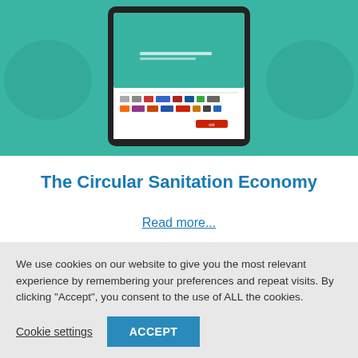[Figure (screenshot): Screenshot of a tablet displaying a document cover for 'The Circular Sanitation Economy' with a teal/green background, showing logos of various organizations at the bottom of the cover.]
The Circular Sanitation Economy
Read more...
We use cookies on our website to give you the most relevant experience by remembering your preferences and repeat visits. By clicking "Accept", you consent to the use of ALL the cookies.
Cookie settings
ACCEPT